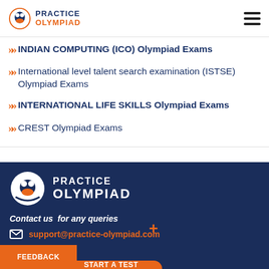[Figure (logo): Practice Olympiad logo with icon and text in header]
INDIAN COMPUTING (ICO) Olympiad Exams
International level talent search examination (ISTSE) Olympiad Exams
INTERNATIONAL LIFE SKILLS Olympiad Exams
CREST Olympiad Exams
[Figure (logo): Practice Olympiad footer logo, white text on dark navy background]
Contact us  for any queries
support@practice-olympiad.com
FEEDBACK   START A TEST